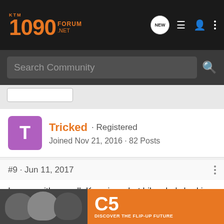KTM 1090 FORUM .NET
Search Community
Tricked · Registered
Joined Nov 21, 2016 · 82 Posts
#9 · Jun 11, 2017
I agree with you all. Knowing what bikes he's had in the past would help to see what he favors and the likes. I also agree that everyone likes their own things and some prefer stiffer rides and less electronics, some prefer more. Everyone has to figure out what value means to them and what they want and how much th…
[Figure (screenshot): Advertisement banner for C5 helmet – DISCOVER THE FLIP-UP FUTURE]